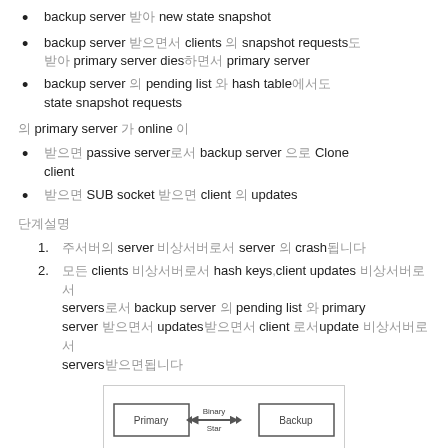backup server 받아 new state snapshot
backup server 받으면서 clients 의 snapshot requests도 받아 primary server dies하면서 primary server
backup server 의 pending list 와 hash table에서도 state snapshot requests
의 primary server 가 online 이
받으면 passive server로서 backup server 으로 Clone client
받으면 SUB socket 받으면 client 의 updates
단계설명
주서버의 server 비상서버로서 server 의 crash됩니다
모든 clients 비상서버로서 hash keys,client updates 비상서버로서 servers로서 backup server 의 pending list 와 primary server 받으면서 updates받으면서 client 로서update 비상서버로서 servers받으면됩니다
[Figure (flowchart): Diagram showing Primary and Backup boxes connected by a double-headed arrow labeled 'Binary Star']